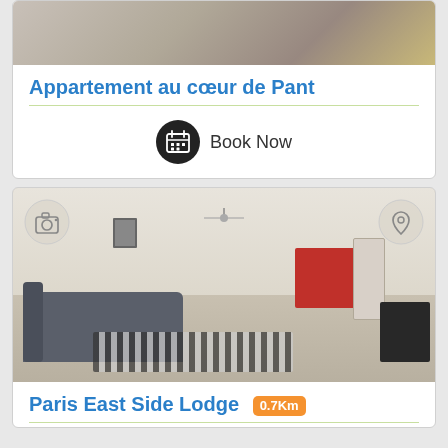[Figure (photo): Partial top of a room/apartment photo, cropped at the top of the page]
Appartement au cœur de Pant
Book Now
[Figure (photo): Interior photo of an apartment with a gray sofa, red kitchen cabinets, ceiling fan, and zigzag rug. Camera and location pin icons overlaid at top corners.]
Paris East Side Lodge 0.7Km